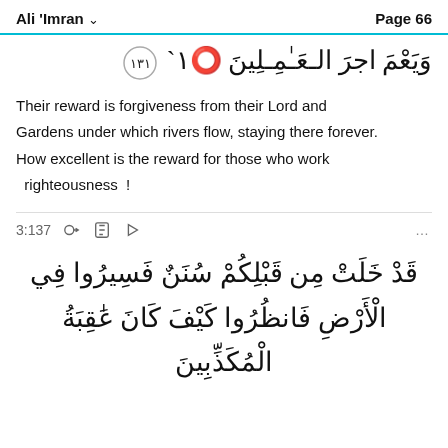Ali 'Imran   Page 66
وَيَعْمَ اجرَ الـعَـٰمِـلِينَ ٣١
Their reward is forgiveness from their Lord and Gardens under which rivers flow, staying there forever. How excellent is the reward for those who work righteousness !
3:137
قَدْ خَلَتْ مِن قَبْلِكُمْ سُنَنٌ فَسِيرُوا فِي الْأَرْضِ فَانظُرُوا كَيْفَ كَانَ عَٰقِبَةُ الْمُكَذِّبِينَ